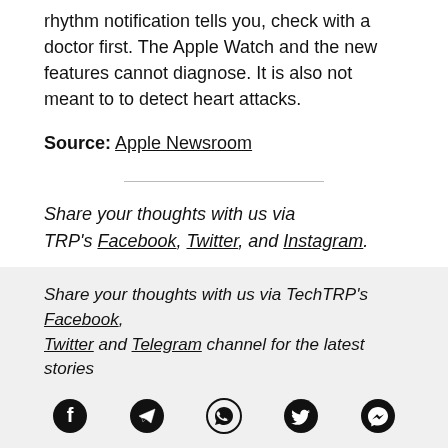rhythm notification tells you, check with a doctor first. The Apple Watch and the new features cannot diagnose. It is also not meant to to detect heart attacks.
Source: Apple Newsroom
Share your thoughts with us via TRP's Facebook, Twitter, and Instagram.
Share your thoughts with us via TechTRP's Facebook, Twitter and Telegram channel for the latest stories
[Figure (other): Row of five social media icons: Facebook, Telegram, WhatsApp, Twitter, Messenger]